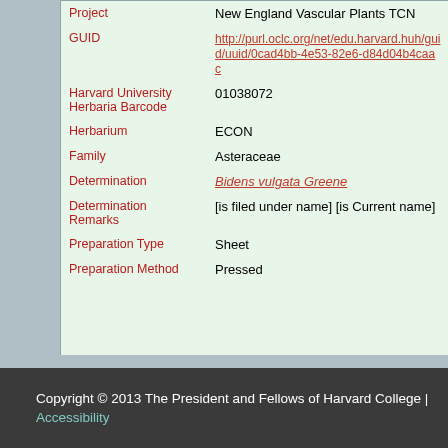| Field | Value |
| --- | --- |
| Project | New England Vascular Plants TCN |
| GUID | http://purl.oclc.org/net/edu.harvard.huh/guid/uuid/0ca...d4bb-4e53-82e6-d84d04b4caac |
| Harvard University Herbaria Barcode | 01038072 |
| Herbarium | ECON |
| Family | Asteraceae |
| Determination | Bidens vulgata Greene |
| Determination Remarks | [is filed under name] [is Current name] |
| Preparation Type | Sheet |
| Preparation Method | Pressed |
Copyright © 2013 The President and Fellows of Harvard College | Accessibility